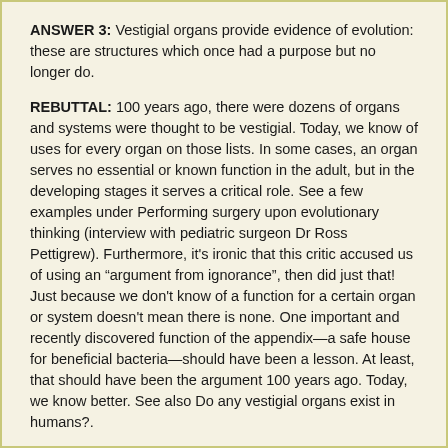ANSWER 3: Vestigial organs provide evidence of evolution: these are structures which once had a purpose but no longer do.
REBUTTAL: 100 years ago, there were dozens of organs and systems were thought to be vestigial. Today, we know of uses for every organ on those lists. In some cases, an organ serves no essential or known function in the adult, but in the developing stages it serves a critical role. See a few examples under Performing surgery upon evolutionary thinking (interview with pediatric surgeon Dr Ross Pettigrew). Furthermore, it's ironic that this critic accused us of using an “argument from ignorance”, then did just that! Just because we don't know of a function for a certain organ or system doesn't mean there is none. One important and recently discovered function of the appendix—a safe house for beneficial bacteria—should have been a lesson. At least, that should have been the argument 100 years ago. Today, we know better. See also Do any vestigial organs exist in humans?.